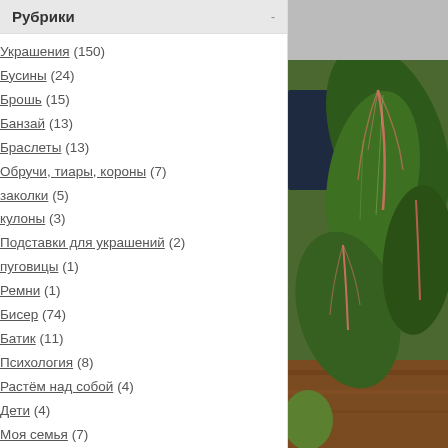Рубрики
Украшения (150)
Бусины (24)
Брошь (15)
Банзай (13)
Браслеты (13)
Обручи, тиары, короны (7)
заколки (5)
кулоны (3)
Подставки для украшений (2)
пуговицы (1)
Ремни (1)
Бисер (74)
Батик (11)
Психология (8)
Растём над собой (4)
Дети (4)
Моя семья (7)
Лучший день в нашей жизни (4)
Наши путешествия и прогулки (3)
Юля (2)
Путешествия (1)
Валяние (74)
Вера (1)
Видео (6)
Винтаж (29)
[Figure (photo): Close-up photo of tropical green plant leaves with pink/red veining on a brown wooden surface]